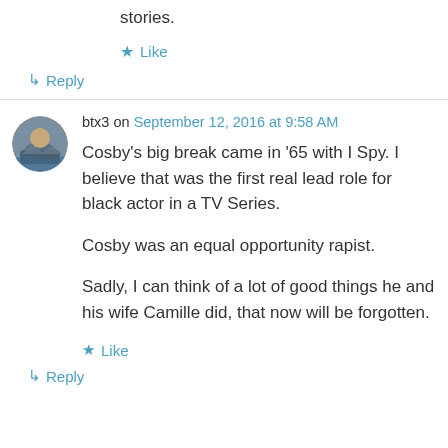stories.
★ Like
↳ Reply
btx3 on September 12, 2016 at 9:58 AM
Cosby's big break came in '65 with I Spy. I believe that was the first real lead role for black actor in a TV Series.
Cosby was an equal opportunity rapist.
Sadly, I can think of a lot of good things he and his wife Camille did, that now will be forgotten.
★ Like
↳ Reply